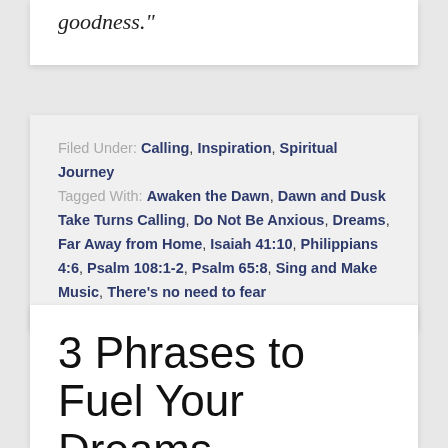goodness."
Filed Under: Calling, Inspiration, Spiritual Journey
Tagged With: Awaken the Dawn, Dawn and Dusk Take Turns Calling, Do Not Be Anxious, Dreams, Far Away from Home, Isaiah 41:10, Philippians 4:6, Psalm 108:1-2, Psalm 65:8, Sing and Make Music, There's no need to fear
3 Phrases to Fuel Your Dreams
JANUARY 31, 2017 BY STANTON LANIER — 2 COMMENTS